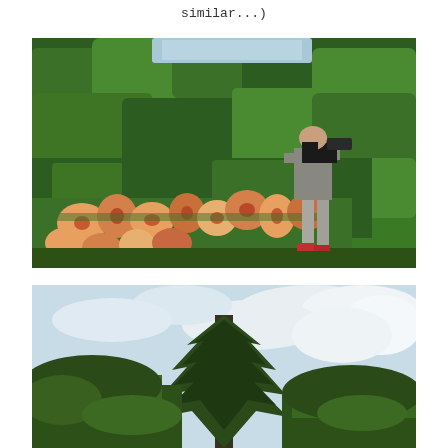similar...)
[Figure (photo): A man standing in a garden holding a camera up to his face, photographing something. Behind him is a large dense green hedge. In the foreground are orange and pink lily flowers.]
[Figure (photo): A tall pine tree against a partly cloudy sky, with other trees visible in the background. The lower portion of the image shows green foliage.]